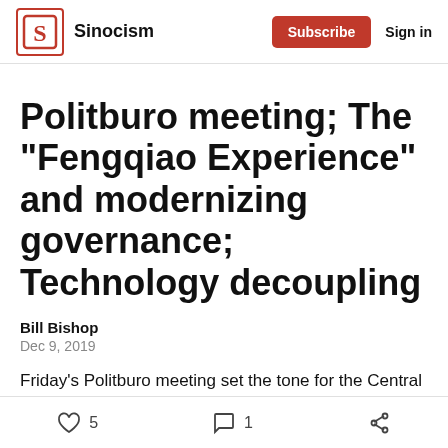Sinocism | Subscribe | Sign in
Politburo meeting; The "Fengqiao Experience" and modernizing governance; Technology decoupling
Bill Bishop
Dec 9, 2019
Friday's Politburo meeting set the tone for the Central Economic Work Conference (The CEWC), and that tone appears to be consistent with what we have been
5 likes  1 comment  share